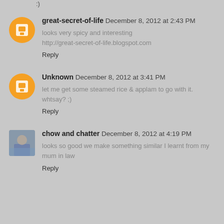great-secret-of-life December 8, 2012 at 2:43 PM
looks very spicy and interesting
http://great-secret-of-life.blogspot.com
Reply
Unknown December 8, 2012 at 3:41 PM
let me get some steamed rice & applam to go with it. whtsay? ;)
Reply
chow and chatter December 8, 2012 at 4:19 PM
looks so good we make something similar I learnt from my mum in law
Reply